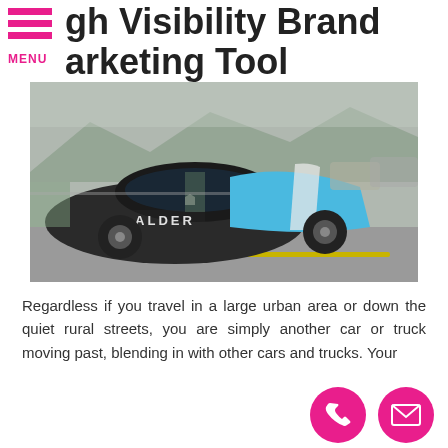gh Visibility Brand Marketing Tool
[Figure (photo): A car with a branded wrap showing the ALDER logo in blue and white on a black vehicle, parked on a road with mountains in the background.]
Regardless if you travel in a large urban area or down the quiet rural streets, you are simply another car or truck moving past, blending in with other cars and trucks. Your